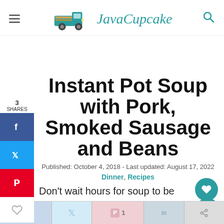JavaCupcake
Instant Pot Soup with Pork, Smoked Sausage and Beans
Published: October 4, 2018 - Last updated: August 17, 2022
Dinner, Recipes
Don't wait hours for soup to be ready!  This recipe Instant Pot Soup with Pork, Smoked Sausage and